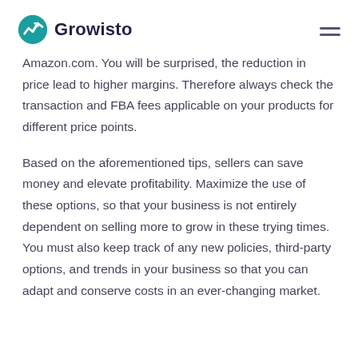Growisto
Amazon.com. You will be surprised, the reduction in price lead to higher margins. Therefore always check the transaction and FBA fees applicable on your products for different price points.
Based on the aforementioned tips, sellers can save money and elevate profitability. Maximize the use of these options, so that your business is not entirely dependent on selling more to grow in these trying times. You must also keep track of any new policies, third-party options, and trends in your business so that you can adapt and conserve costs in an ever-changing market.